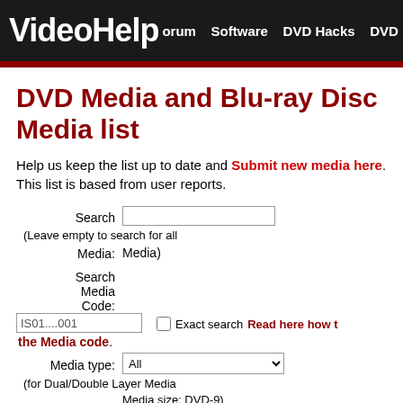VideoHelp Forum Software DVD Hacks DVD
DVD Media and Blu-ray Disc Media list
Help us keep the list up to date and Submit new media here. This list is based from user reports.
Search (Leave empty to search for all Media: Media)
Search Media Code: IS01....001 Exact search Read here how to the Media code.
Media type: All (for Dual/Double Layer Media Media size: DVD-9)
Media size: All
Burn speed: All
Order by: Hits per page: 50